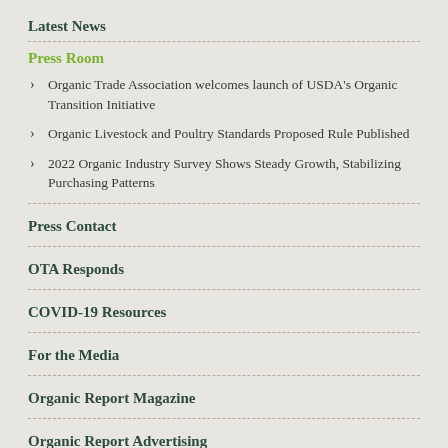Latest News
Press Room
Organic Trade Association welcomes launch of USDA's Organic Transition Initiative
Organic Livestock and Poultry Standards Proposed Rule Published
2022 Organic Industry Survey Shows Steady Growth, Stabilizing Purchasing Patterns
Press Contact
OTA Responds
COVID-19 Resources
For the Media
Organic Report Magazine
Organic Report Advertising